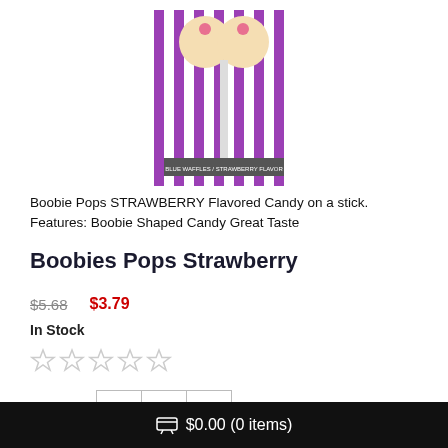[Figure (photo): Product photo of Boobie Pops candy on a stick with purple and white striped packaging background]
Boobie Pops STRAWBERRY Flavored Candy on a stick. Features: Boobie Shaped Candy Great Taste
Boobies Pops Strawberry
$5.68  $3.79  In Stock
[Figure (other): Five empty star rating icons (0 out of 5 stars)]
Quantity:  1
ADD TO CART
🛒 $0.00 (0 items)